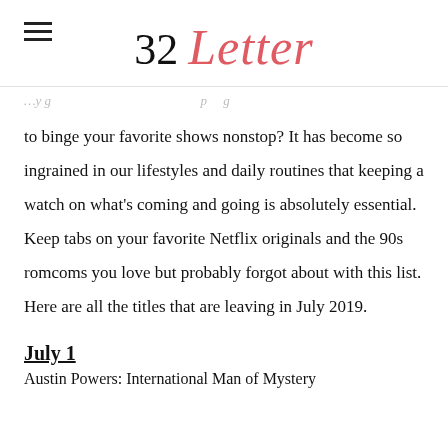32 Letter
to binge your favorite shows nonstop? It has become so ingrained in our lifestyles and daily routines that keeping a watch on what's coming and going is absolutely essential. Keep tabs on your favorite Netflix originals and the 90s romcoms you love but probably forgot about with this list. Here are all the titles that are leaving in July 2019.
July 1
Austin Powers: International Man of Mystery